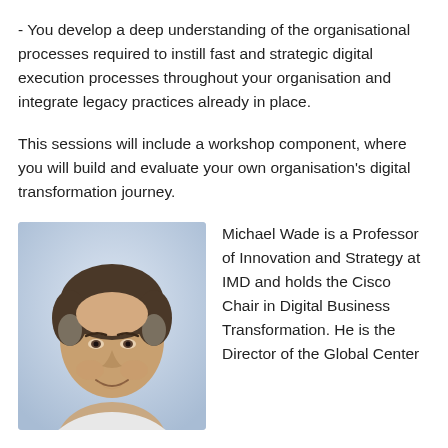- You develop a deep understanding of the organisational processes required to instill fast and strategic digital execution processes throughout your organisation and integrate legacy practices already in place.
This sessions will include a workshop component, where you will build and evaluate your own organisation’s digital transformation journey.
[Figure (photo): Headshot photo of Michael Wade, a middle-aged man with short dark grey hair, smiling, against a light blue-grey background.]
Michael Wade is a Professor of Innovation and Strategy at IMD and holds the Cisco Chair in Digital Business Transformation. He is the Director of the Global Center